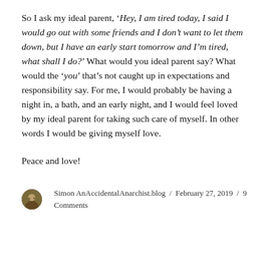So I ask my ideal parent, 'Hey, I am tired today, I said I would go out with some friends and I don't want to let them down, but I have an early start tomorrow and I'm tired, what shall I do?' What would you ideal parent say? What would the 'you' that's not caught up in expectations and responsibility say. For me, I would probably be having a night in, a bath, and an early night, and I would feel loved by my ideal parent for taking such care of myself. In other words I would be giving myself love.
Peace and love!
Simon AnAccidentalAnarchist.blog / February 27, 2019 / 9 Comments